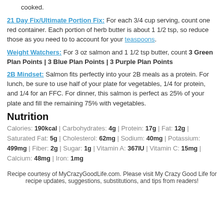cooked.
21 Day Fix/Ultimate Portion Fix: For each 3/4 cup serving, count one red container. Each portion of herb butter is about 1 1/2 tsp, so reduce those as you need to to account for your teaspoons.
Weight Watchers: For 3 oz salmon and 1 1/2 tsp butter, count 3 Green Plan Points | 3 Blue Plan Points | 3 Purple Plan Points
2B Mindset: Salmon fits perfectly into your 2B meals as a protein. For lunch, be sure to use half of your plate for vegetables, 1/4 for protein, and 1/4 for an FFC. For dinner, this salmon is perfect as 25% of your plate and fill the remaining 75% with vegetables.
Nutrition
Calories: 190kcal | Carbohydrates: 4g | Protein: 17g | Fat: 12g | Saturated Fat: 5g | Cholesterol: 62mg | Sodium: 40mg | Potassium: 499mg | Fiber: 2g | Sugar: 1g | Vitamin A: 367IU | Vitamin C: 15mg | Calcium: 48mg | Iron: 1mg
Recipe courtesy of MyCrazyGoodLife.com. Please visit My Crazy Good Life for recipe updates, suggestions, substitutions, and tips from readers!